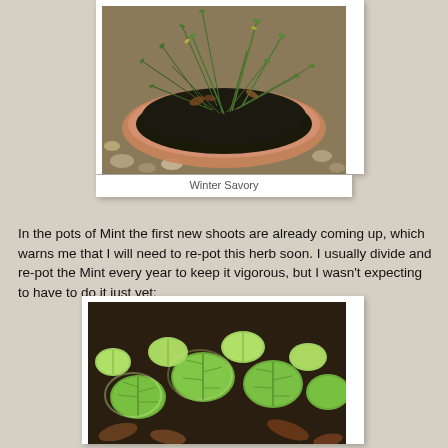[Figure (photo): Overhead view of a terracotta pot containing Winter Savory herb with thin green stems and small leaves, surrounded by gravel and soil.]
Winter Savory
In the pots of Mint the first new shoots are already coming up, which warns me that I will need to re-pot this herb soon. I usually divide and re-pot the Mint every year to keep it vigorous, but I wasn't expecting to have to do it just yet:
[Figure (photo): Close-up photo of young mint plants with bright green rounded leaves growing in dark soil with some dry brown leaves visible.]